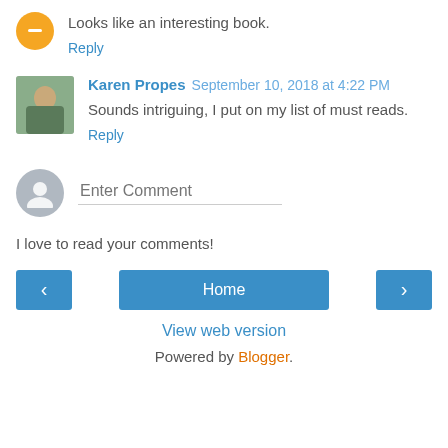Looks like an interesting book.
Reply
Karen Propes  September 10, 2018 at 4:22 PM
Sounds intriguing, I put on my list of must reads.
Reply
Enter Comment
I love to read your comments!
Home
View web version
Powered by Blogger.